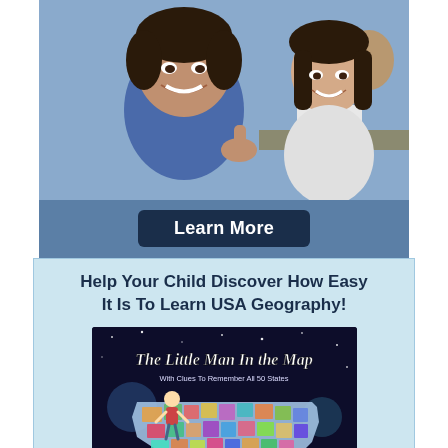[Figure (photo): Two smiling teenagers at a learning camp, boy in blue shirt in foreground giving thumbs up, girl in background]
Learn More
SuperCamp.com
800-228-5327
[Figure (logo): SuperCamp logo with icon and text 'By Quantum Learning']
Help Your Child Discover How Easy It Is To Learn USA Geography!
[Figure (illustration): The Little Man In the Map book cover — With Clues To Remember All 50 States, showing colorful USA map illustration]